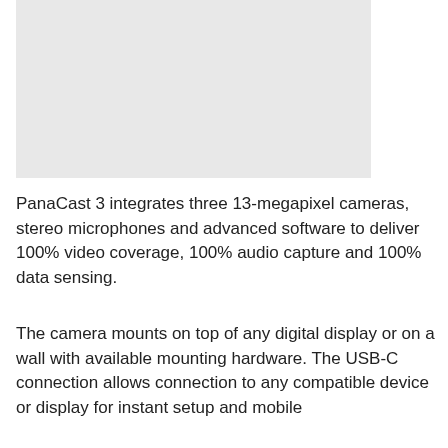[Figure (photo): Light gray placeholder image rectangle occupying the upper portion of the page]
PanaCast 3 integrates three 13-megapixel cameras, stereo microphones and advanced software to deliver 100% video coverage, 100% audio capture and 100% data sensing.
The camera mounts on top of any digital display or on a wall with available mounting hardware. The USB-C connection allows connection to any compatible device or display for instant setup and mobile